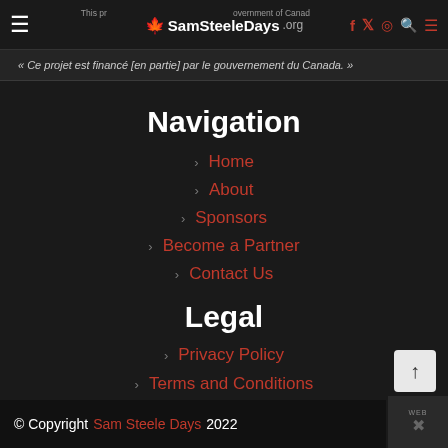SamSteeleDays.org — This project is financed [in part] by the Government of Canada.
« Ce projet est financé [en partie] par le gouvernement du Canada. »
Navigation
> Home
> About
> Sponsors
> Become a Partner
> Contact Us
Legal
> Privacy Policy
> Terms and Conditions
© Copyright Sam Steele Days 2022